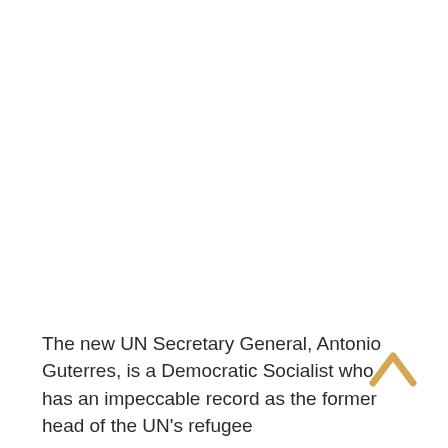The new UN Secretary General, Antonio Guterres, is a Democratic Socialist who has an impeccable record as the former head of the UN's refugee